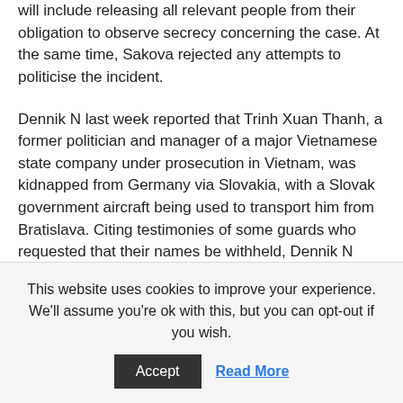will include releasing all relevant people from their obligation to observe secrecy concerning the case. At the same time, Sakova rejected any attempts to politicise the incident.
Dennik N last week reported that Trinh Xuan Thanh, a former politician and manager of a major Vietnamese state company under prosecution in Vietnam, was kidnapped from Germany via Slovakia, with a Slovak government aircraft being used to transport him from Bratislava. Citing testimonies of some guards who requested that their names be withheld, Dennik N reported that a seemingly drunk and bruised individual at some point appeared under rather unusual circumstances as a member of the official Vietnamese delegation before it was taken to Bratislava Airport following talks with Kalinak. A senior ministry
This website uses cookies to improve your experience. We'll assume you're ok with this, but you can opt-out if you wish.